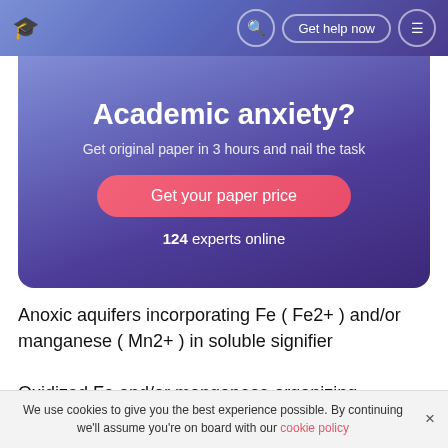Academic help platform navigation bar with logo, search, Get help now button, and menu
Academic anxiety?
Get original paper in 3 hours and nail the task
Get your paper price
124 experts online
Anoxic aquifers incorporating Fe ( Fe2+ ) and/or manganese ( Mn2+ ) in soluble signifier
Oxidized Fe and/or manganese organizing hydroxide flocs from natural H2O
We use cookies to give you the best experience possible. By continuing we'll assume you're on board with our cookie policy